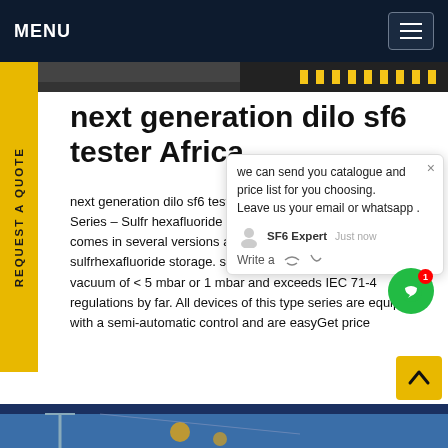MENU
[Figure (photo): Hero image strip showing industrial/railway track with yellow safety markings]
next generation dilo sf6 tester Africa
next generation dilo sf6 tester Africa model 7R.. - Compact Series - Sulfr hexafluoride Recovery Unit. This robust series comes in several versions allowing gaseous and liquid sulfrhexafluoride storage. sf 6 gas can be recovered to a final vacuum of < 5 mbar or 1 mbar and exceeds IEC 71-4 regulations by far. All devices of this type series are equipped with a semi-automatic control and are easyGet price
[Figure (photo): Bottom image strip showing electrical transmission equipment against blue sky]